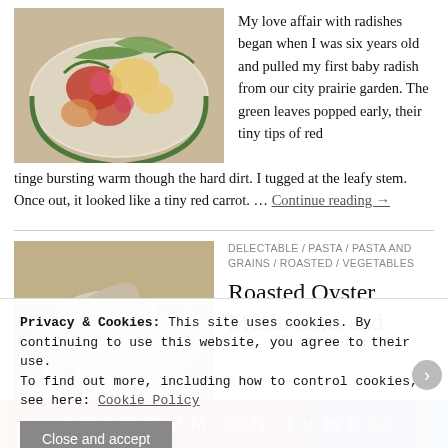[Figure (photo): Photo of a salad with radishes, potatoes, and greens in a green-rimmed bowl]
My love affair with radishes began when I was six years old and pulled my first baby radish from our city prairie garden. The green leaves popped early, their tiny tips of red tinge bursting warm though the hard dirt. I tugged at the leafy stem. Once out, it looked like a tiny red carrot. … Continue reading →
[Figure (photo): Photo of oyster mushrooms clustered together on a wooden surface]
DELECTABLE / PASTA / PASTA AND GRAINS / ROASTED / VEGETABLES
Roasted Oyster Mushrooms and
Privacy & Cookies: This site uses cookies. By continuing to use this website, you agree to their use.
To find out more, including how to control cookies, see here: Cookie Policy
Close and accept
Advertisements
[Figure (infographic): Colorful advertisement bar with text FANDOM ON tumblr]